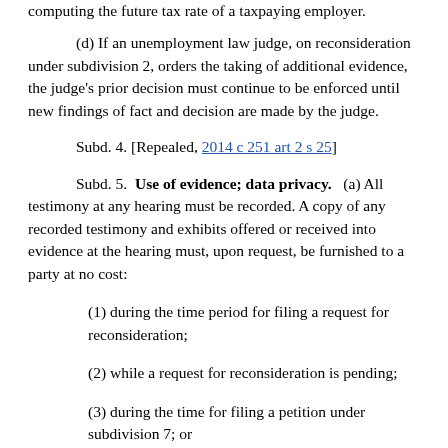computing the future tax rate of a taxpaying employer.
(d) If an unemployment law judge, on reconsideration under subdivision 2, orders the taking of additional evidence, the judge's prior decision must continue to be enforced until new findings of fact and decision are made by the judge.
Subd. 4. [Repealed, 2014 c 251 art 2 s 25]
Subd. 5. Use of evidence; data privacy. (a) All testimony at any hearing must be recorded. A copy of any recorded testimony and exhibits offered or received into evidence at the hearing must, upon request, be furnished to a party at no cost:
(1) during the time period for filing a request for reconsideration;
(2) while a request for reconsideration is pending;
(3) during the time for filing a petition under subdivision 7; or
(4) while a petition is pending.
Regardless of any law to the contrary, recorded testimony and other evidence may later be made available